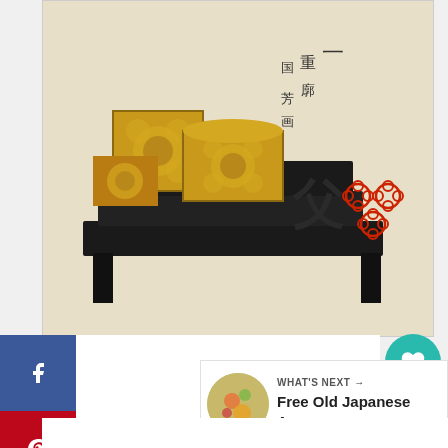[Figure (illustration): Japanese woodblock print showing decorative lacquered boxes with gold floral patterns on a black stand, with Japanese calligraphy and red seal stamps on the right side against a beige background.]
[Figure (infographic): Social sharing sidebar with Facebook (blue), Pinterest (red), and Twitter (light blue) buttons showing f, p, and bird icons respectively.]
[Figure (infographic): Action buttons: teal heart like button, count showing 992, and teal share button with plus icon.]
WHAT'S NEXT → Free Old Japanese Ar...